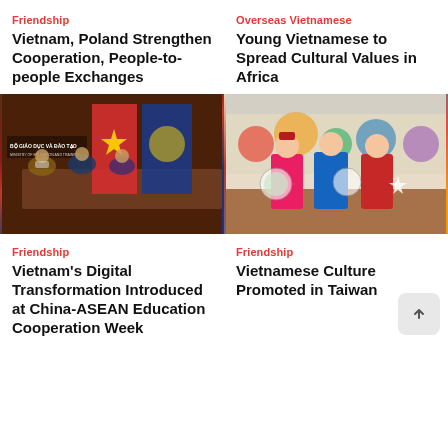Friendship
Vietnam, Poland Strengthen Cooperation, People-to-people Exchanges
Overseas Vietnamese
Young Vietnamese to Spread Cultural Values in Africa
[Figure (photo): Meeting at the Ministry of Education and Training (Bộ Giáo Dục Và Đào Tạo) with officials seated at a conference table with Vietnamese and ASEAN flags in the background]
[Figure (photo): Three children in colorful traditional Vietnamese ao dai dresses holding decorative items, with an illustrated mural in the background]
Friendship
Vietnam's Digital Transformation Introduced at China-ASEAN Education Cooperation Week
Friendship
Vietnamese Culture Promoted in Taiwan